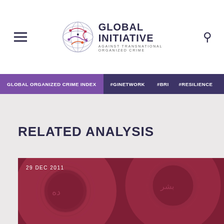Global Initiative Against Transnational Organized Crime
GLOBAL ORGANIZED CRIME INDEX | #GINETWORK | #BRI | #RESILIENCE
RELATED ANALYSIS
[Figure (photo): Red-tinted photograph of coins with Arabic script, date labeled 29 DEC 2011]
29 DEC 2011